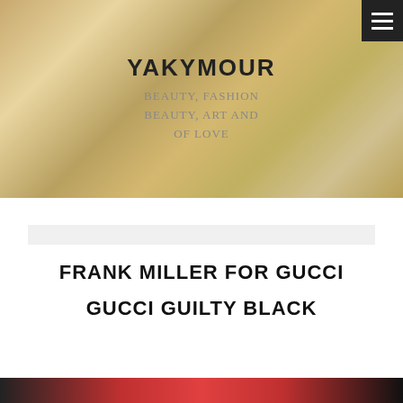[Figure (photo): Header banner photo of cosmetics/perfume products in gold tones with overlay text showing blog name YAKYMOUR and tagline. Hamburger menu icon in top-right corner.]
FRANK MILLER FOR GUCCI

GUCCI GUILTY BLACK
[Figure (photo): Bottom strip showing partial photo with red hair and dark tones.]